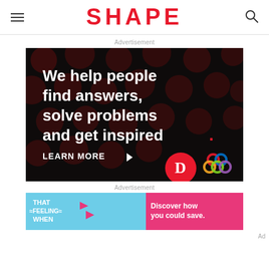SHAPE
Advertisement
[Figure (screenshot): Advertisement banner on black background with dark red polka dot pattern. Bold white text reads: 'We help people find answers, solve problems and get inspired.' with a red period. Below text: 'LEARN MORE ▶' in white. Bottom right shows a red circle with white 'D' logo and a colorful interlocking circles logo.]
Advertisement
[Figure (screenshot): Second advertisement banner with light blue/teal left section showing 'THAT FEELING WHEN' text with pink arrows and a photo of a smiling couple, and a pink right section reading 'Discover how you could save.']